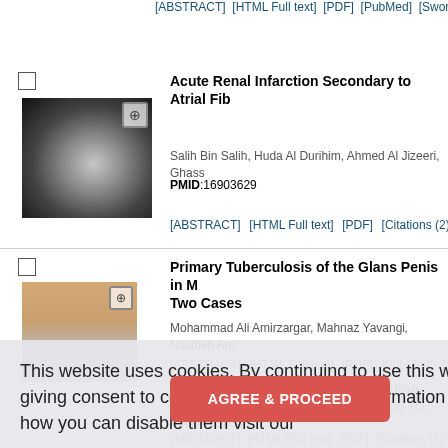[ABSTRACT] [HTML Full text] [PDF] [PubMed] [Sword
[Figure (photo): Medical CT scan image of abdomen showing renal structures]
Acute Renal Infarction Secondary to Atrial Fib
Salih Bin Salih, Huda Al Durihim, Ahmed Al Jizeeri, Ghass
PMID:16903629
[ABSTRACT] [HTML Full text] [PDF] [Citations (2) ] [Pu
[Figure (photo): Clinical photograph showing skin/tissue condition]
Primary Tuberculosis of the Glans Penis in M... Two Cases
Mohammad Ali Amirzargar, Mahnaz Yavangi, Nasibeh Am
[ABSTRACT] [HTML Full text] [PDF] [PubMed] [Sword
... Renal Failure in Hypertensive Idiop
Wasiu A Olowu, Olusola A Adenowo, Jerome B.E Elusiya
PMID:16903631
[ABSTRACT] [HTML Full text] [PDF] [Citations (1) ] [Pu
BRIEF COMMUNICATION
Attitude of Transplant Centers in the Midd
This website uses cookies. By continuing to use this website you are giving consent to cookies being used. For information on cookies and how you can disable them visit our Privacy and Cookie Policy.
AGREE & PROCEED